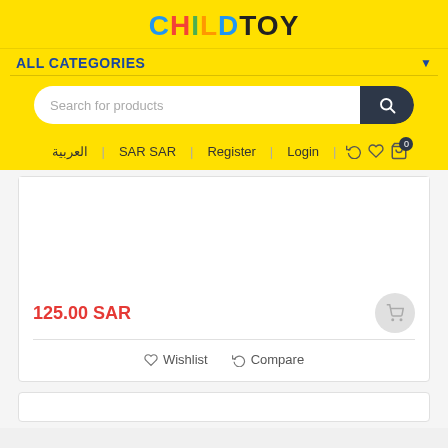CHILDTOY
ALL CATEGORIES
Search for products
العربية | SAR SAR | Register | Login
125.00 SAR
Wishlist   Compare